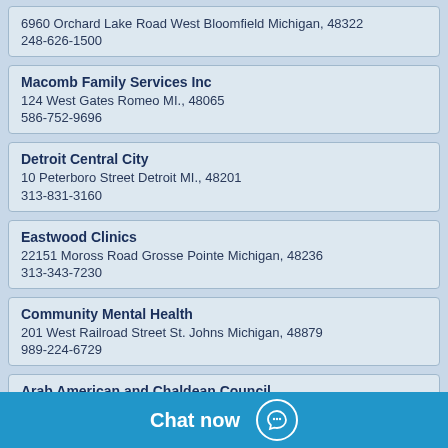6960 Orchard Lake Road West Bloomfield Michigan, 48322
248-626-1500
Macomb Family Services Inc
124 West Gates Romeo MI., 48065
586-752-9696
Detroit Central City
10 Peterboro Street Detroit MI., 48201
313-831-3160
Eastwood Clinics
22151 Moross Road Grosse Pointe Michigan, 48236
313-343-7230
Community Mental Health
201 West Railroad Street St. Johns Michigan, 48879
989-224-6729
Arab American and Chaldean Council
38219 Mount Road Sterling Heights MI., 48310
586-939-5016
Promedica Regional Mo...
730 North Macomb Road...
734-240-1760